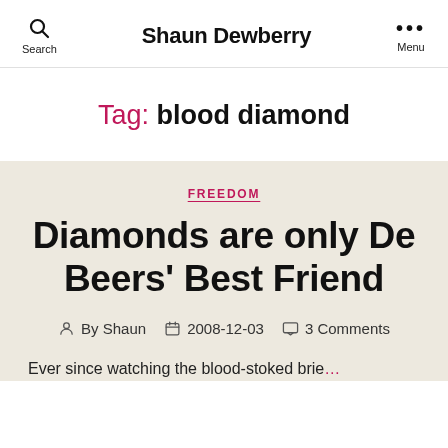Shaun Dewberry
Tag: blood diamond
FREEDOM
Diamonds are only De Beers' Best Friend
By Shaun   2008-12-03   3 Comments
Ever since watching the blood-stoked brie…